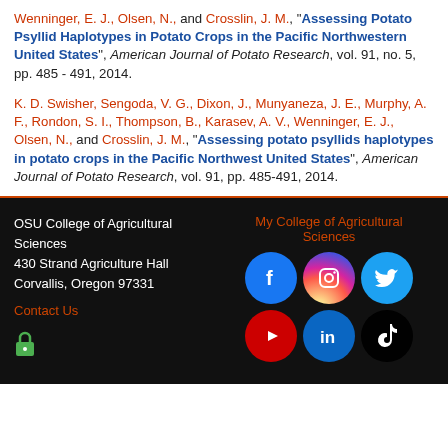Wenninger, E. J., Olsen, N., and Crosslin, J. M., "Assessing Potato Psyllid Haplotypes in Potato Crops in the Pacific Northwestern United States", American Journal of Potato Research, vol. 91, no. 5, pp. 485 - 491, 2014.
K. D. Swisher, Sengoda, V. G., Dixon, J., Munyaneza, J. E., Murphy, A. F., Rondon, S. I., Thompson, B., Karasev, A. V., Wenninger, E. J., Olsen, N., and Crosslin, J. M., "Assessing potato psyllids haplotypes in potato crops in the Pacific Northwest United States", American Journal of Potato Research, vol. 91, pp. 485-491, 2014.
OSU College of Agricultural Sciences
430 Strand Agriculture Hall
Corvallis, Oregon 97331
Contact Us
My College of Agricultural Sciences
[Figure (infographic): Social media icons: Facebook (blue circle), Instagram (gradient circle), Twitter (light blue circle), YouTube (red circle), LinkedIn (blue circle), TikTok (dark multicolor circle)]